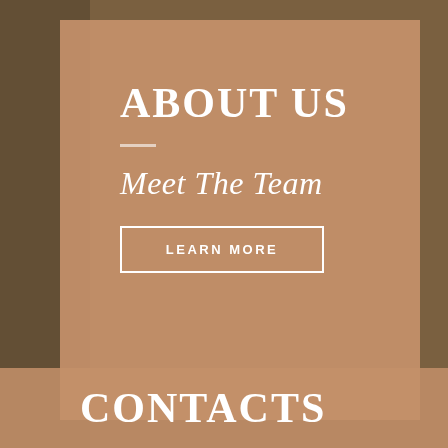ABOUT US
Meet The Team
LEARN MORE
CONTACTS